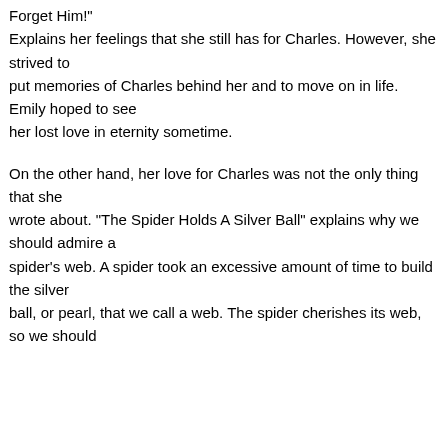Forget Him!" Explains her feelings that she still has for Charles. However, she strived to put memories of Charles behind her and to move on in life. Emily hoped to see her lost love in eternity sometime.
On the other hand, her love for Charles was not the only thing that she wrote about. "The Spider Holds A Silver Ball" explains why we should admire a spider's web. A spider took an excessive amount of time to build the silver ball, or pearl, that we call a web. The spider cherishes its web, so we should